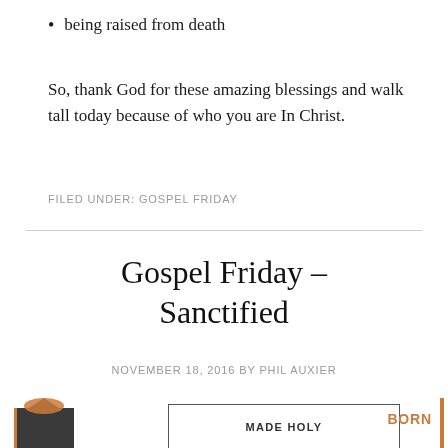being raised from death
So, thank God for these amazing blessings and walk tall today because of who you are In Christ.
FILED UNDER: GOSPEL FRIDAY
Gospel Friday – Sanctified
NOVEMBER 18, 2016 BY PHIL AUXIER
[Figure (illustration): Church illustration with a central box labeled MADE HOLY and a label BORN on the right side, with an orange vertical bar on the far right edge.]